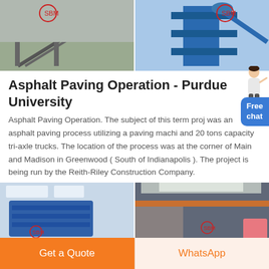[Figure (photo): Two industrial photos side by side at top: left shows a construction/mining conveyor belt area, right shows blue industrial equipment structure against sky]
Asphalt Paving Operation - Purdue University
Asphalt Paving Operation. The subject of this term project was an asphalt paving process utilizing a paving machine and 20 tons capacity tri-axle trucks. The location of the process was at the corner of Main and Madison in Greenwood ( South of Indianapolis ). The project is being run by the Reith-Riley Construction Company.
[Figure (photo): Two industrial photos side by side at bottom: left shows blue industrial machinery, right shows interior of industrial facility]